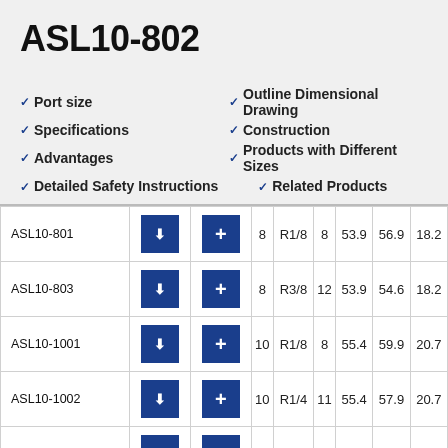ASL10-802
Port size
Outline Dimensional Drawing
Specifications
Construction
Advantages
Products with Different Sizes
Detailed Safety Instructions
Related Products
| Model |  |  |  | Port size |  |  |  |  |
| --- | --- | --- | --- | --- | --- | --- | --- | --- |
| ASL10-801 |  |  | 8 | R1/8 | 8 | 53.9 | 56.9 | 18.2 |
| ASL10-803 |  |  | 8 | R3/8 | 12 | 53.9 | 54.6 | 18.2 |
| ASL10-1001 |  |  | 10 | R1/8 | 8 | 55.4 | 59.9 | 20.7 |
| ASL10-1002 |  |  | 10 | R1/4 | 11 | 55.4 | 57.9 | 20.7 |
| ASL10-1003 |  |  | 10 | R3/8 | 12 | 55.4 | 57.6 | 20.7 |
| ASL10-1201 |  |  | 12 | R1/8 | 8 | 56.9 | 62.9 | 23.3 |
| ASL10-1202 |  |  | 12 | R1/4 | 11 | 56.9 | 60.8 | 23.3 |